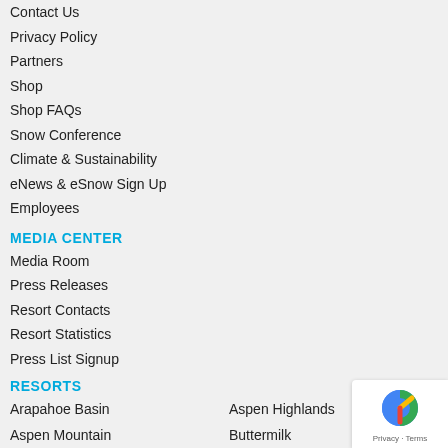Contact Us
Privacy Policy
Partners
Shop
Shop FAQs
Snow Conference
Climate & Sustainability
eNews & eSnow Sign Up
Employees
MEDIA CENTER
Media Room
Press Releases
Resort Contacts
Resort Statistics
Press List Signup
RESORTS
Arapahoe Basin
Aspen Highlands
Aspen Mountain
Buttermilk
Cooper
Copper Mountain